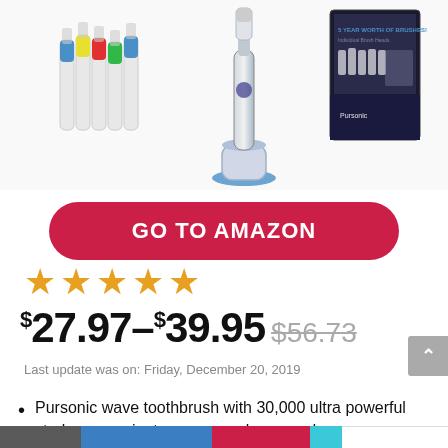[Figure (photo): Product photos of electric toothbrush replacement heads and an electric toothbrush with charging stand and box packaging]
GO TO AMAZON
[Figure (other): Five gold/orange star rating icons]
$27.97–$39.95 $56.73
Last update was on: Friday, December 20, 2019
Pursonic wave toothbrush with 30,000 ultra powerful strokes per minute removes plaque and